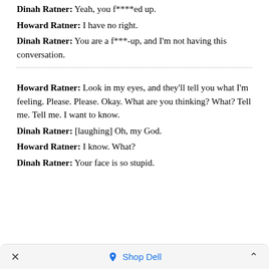Dinah Ratner: Yeah, you f****ed up.
Howard Ratner: I have no right.
Dinah Ratner: You are a f***-up, and I'm not having this conversation.
Howard Ratner: Look in my eyes, and they'll tell you what I'm feeling. Please. Please. Okay. What are you thinking? What? Tell me. Tell me. I want to know.
Dinah Ratner: [laughing] Oh, my God.
Howard Ratner: I know. What?
Dinah Ratner: Your face is so stupid.
× Shop Dell ^